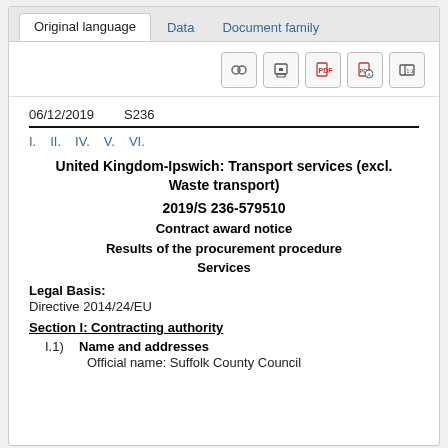Original language | Data | Document family
06/12/2019   S236
I.  II.  IV.  V.  VI.
United Kingdom-Ipswich: Transport services (excl. Waste transport)
2019/S 236-579510
Contract award notice
Results of the procurement procedure
Services
Legal Basis:
Directive 2014/24/EU
Section I: Contracting authority
I.1)  Name and addresses
Official name: Suffolk County Council